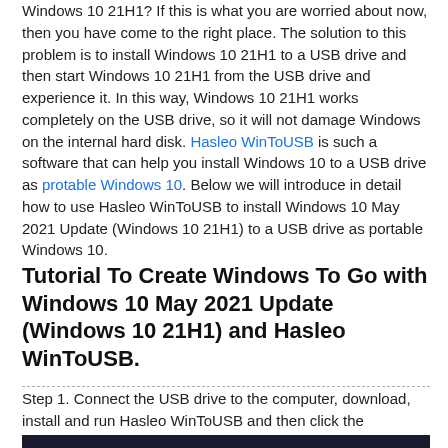Windows 10 21H1? If this is what you are worried about now, then you have come to the right place. The solution to this problem is to install Windows 10 21H1 to a USB drive and then start Windows 10 21H1 from the USB drive and experience it. In this way, Windows 10 21H1 works completely on the USB drive, so it will not damage Windows on the internal hard disk. Hasleo WinToUSB is such a software that can help you install Windows 10 to a USB drive as protable Windows 10. Below we will introduce in detail how to use Hasleo WinToUSB to install Windows 10 May 2021 Update (Windows 10 21H1) to a USB drive as portable Windows 10.
Tutorial To Create Windows To Go with Windows 10 May 2021 Update (Windows 10 21H1) and Hasleo WinToUSB.
Step 1. Connect the USB drive to the computer, download, install and run Hasleo WinToUSB and then click the "Windows To Go USB".
[Figure (screenshot): Screenshot of Hasleo WinToUSB application window title bar showing the application name and window controls (restore, minimize, close).]